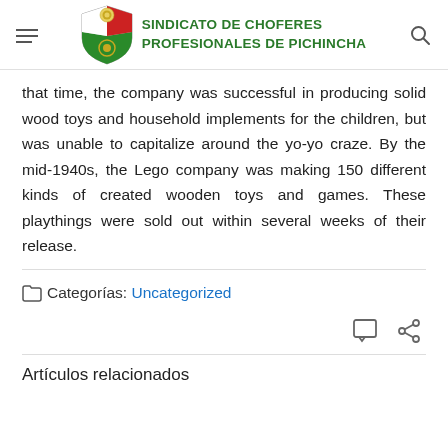SINDICATO DE CHOFERES PROFESIONALES DE PICHINCHA
that time, the company was successful in producing solid wood toys and household implements for the children, but was unable to capitalize around the yo-yo craze. By the mid-1940s, the Lego company was making 150 different kinds of created wooden toys and games. These playthings were sold out within several weeks of their release.
Categorías: Uncategorized
Artículos relacionados